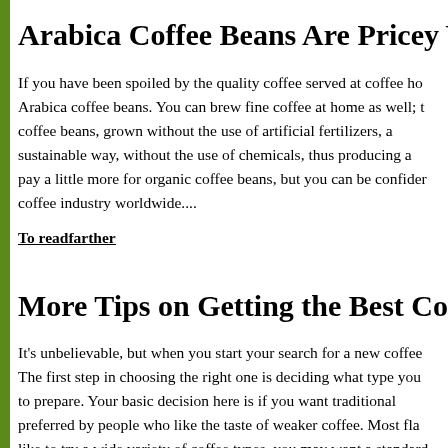Arabica Coffee Beans Are Pricey Yet Pr
If you have been spoiled by the quality coffee served at coffee ho… Arabica coffee beans. You can brew fine coffee at home as well; t… coffee beans, grown without the use of artificial fertilizers, a… sustainable way, without the use of chemicals, thus producing a… pay a little more for organic coffee beans, but you can be confide… coffee industry worldwide....
To readfarther
More Tips on Getting the Best Coffee M
It's unbelievable, but when you start your search for a new coffee… The first step in choosing the right one is deciding what type you … to prepare. Your basic decision here is if you want traditional … preferred by people who like the taste of weaker coffee. Most fla… like to try a wide variety of coffee types, you may want a standard…